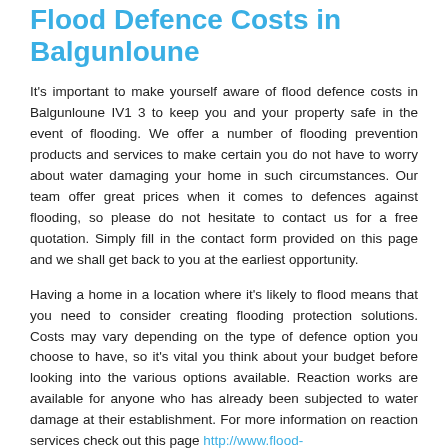Flood Defence Costs in Balgunloune
It's important to make yourself aware of flood defence costs in Balgunloune IV1 3 to keep you and your property safe in the event of flooding. We offer a number of flooding prevention products and services to make certain you do not have to worry about water damaging your home in such circumstances. Our team offer great prices when it comes to defences against flooding, so please do not hesitate to contact us for a free quotation. Simply fill in the contact form provided on this page and we shall get back to you at the earliest opportunity.
Having a home in a location where it's likely to flood means that you need to consider creating flooding protection solutions. Costs may vary depending on the type of defence option you choose to have, so it's vital you think about your budget before looking into the various options available. Reaction works are available for anyone who has already been subjected to water damage at their establishment. For more information on reaction services check out this page http://www.flood-